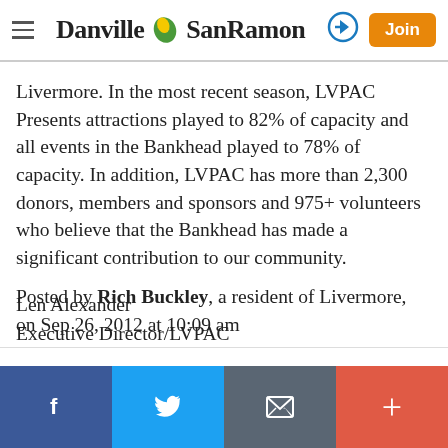Danville SanRamon [navigation header with logo, sign-in arrow, and Join button]
Livermore. In the most recent season, LVPAC Presents attractions played to 82% of capacity and all events in the Bankhead played to 78% of capacity. In addition, LVPAC has more than 2,300 donors, members and sponsors and 975+ volunteers who believe that the Bankhead has made a significant contribution to our community.
Len Alexander
Executive Director/LVPAC
Report Objectionable Content
Posted by Rich Buckley, a resident of Livermore, on Sep 26, 2012 at 10:09 am
Facebook | Twitter | Email | More